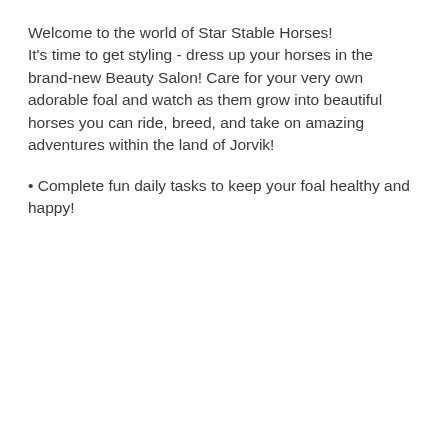Welcome to the world of Star Stable Horses! It's time to get styling - dress up your horses in the brand-new Beauty Salon! Care for your very own adorable foal and watch as them grow into beautiful horses you can ride, breed, and take on amazing adventures within the land of Jorvik!
Complete fun daily tasks to keep your foal healthy and happy!